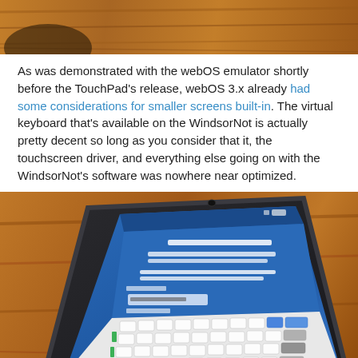[Figure (photo): Top portion of a photo showing a wooden surface with a partial view of an object, cropped at the bottom of the frame.]
As was demonstrated with the webOS emulator shortly before the TouchPad's release, webOS 3.x already had some considerations for smaller screens built-in. The virtual keyboard that's available on the WindsorNot is actually pretty decent so long as you consider that it, the touchscreen driver, and everything else going on with the WindsorNot's software was nowhere near optimized.
[Figure (photo): A dark-colored smartphone lying on a wooden surface, displaying a webOS account sign-in screen with a virtual keyboard visible. The screen shows fields for Email and Password, and the keyboard keys are visible.]